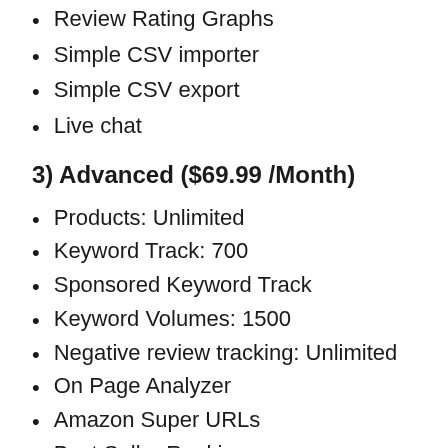Review Rating Graphs
Simple CSV importer
Simple CSV export
Live chat
3) Advanced ($69.99 /Month)
Products: Unlimited
Keyword Track: 700
Sponsored Keyword Track
Keyword Volumes: 1500
Negative review tracking: Unlimited
On Page Analyzer
Amazon Super URLs
Best Seller Ranking